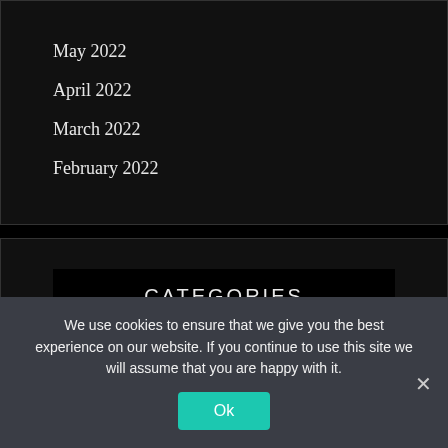May 2022
April 2022
March 2022
February 2022
CATEGORIES
Entertainment
We use cookies to ensure that we give you the best experience on our website. If you continue to use this site we will assume that you are happy with it.
Ok